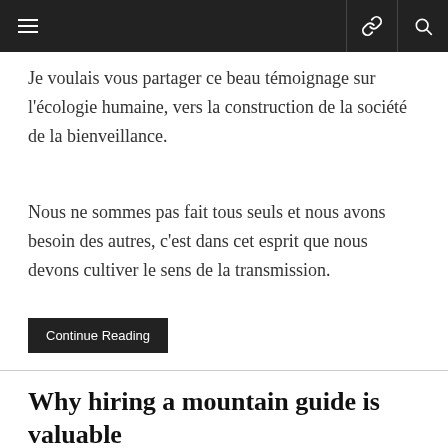≡  [link icon] [search icon]
Je voulais vous partager ce beau témoignage sur l'écologie humaine, vers la construction de la société de la bienveillance.
Nous ne sommes pas fait tous seuls et nous avons besoin des autres, c'est dans cet esprit que nous devons cultiver le sens de la transmission.
Continue Reading
Why hiring a mountain guide is valuable